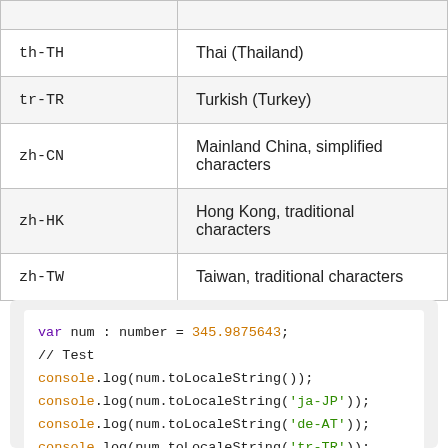| Locale | Description |
| --- | --- |
| th-TH | Thai (Thailand) |
| tr-TR | Turkish (Turkey) |
| zh-CN | Mainland China, simplified characters |
| zh-HK | Hong Kong, traditional characters |
| zh-TW | Taiwan, traditional characters |
var num : number = 345.9875643;
// Test
console.log(num.toLocaleString());
console.log(num.toLocaleString('ja-JP'));
console.log(num.toLocaleString('de-AT'));
console.log(num.toLocaleString('tr-TR'));